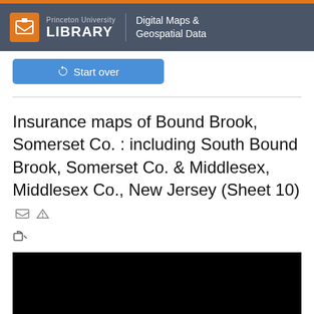Princeton University LIBRARY | Digital Maps & Geospatial Data
↺ Start over
Insurance maps of Bound Brook, Somerset Co. : including South Bound Brook, Somerset Co. & Middlesex, Middlesex Co., New Jersey (Sheet 10)
[Figure (photo): Black rectangular image area, appears to be a loading or dark map image thumbnail]